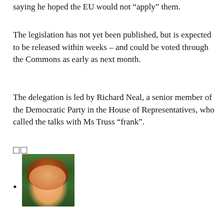saying he hoped the EU would not “apply” them.
The legislation has not yet been published, but is expected to be released within weeks – and could be voted through the Commons as early as next month.
The delegation is led by Richard Neal, a senior member of the Democratic Party in the House of Representatives, who called the talks with Ms Truss “frank”.
□□
[photo of a woman with red/auburn hair wearing a yellow outfit against a green background]
[Figure (photo): Headshot photo of a woman with long auburn/red hair, smiling, wearing a yellow outfit, against a dark green leafy background.]